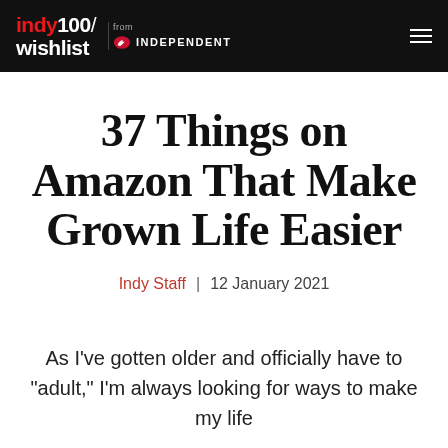indy100/ wishlist from INDEPENDENT
37 Things on Amazon That Make Grown Life Easier
Indy Staff  |  12 January 2021
As I've gotten older and officially have to "adult," I'm always looking for ways to make my life